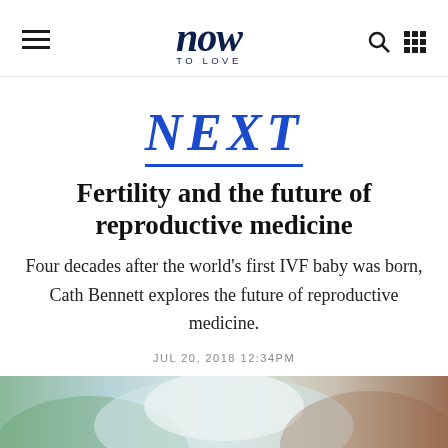now TO LOVE
NEXT
Fertility and the future of reproductive medicine
Four decades after the world's first IVF baby was born, Cath Bennett explores the future of reproductive medicine.
JUL 20, 2018 12:34PM
[Figure (photo): Photo of a person wearing a white sleeveless top, partial torso/shoulder view, blurred background with greenery and warm tones]